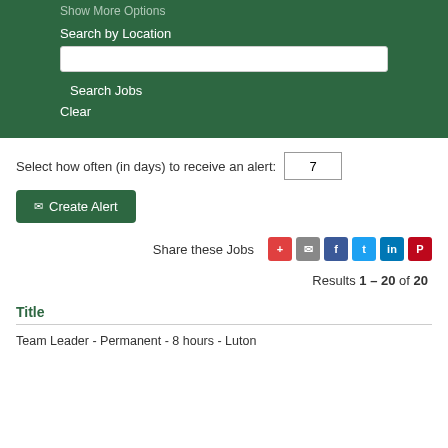Show More Options
Search by Location
Search Jobs
Clear
Select how often (in days) to receive an alert: 7
✉ Create Alert
Share these Jobs
Results 1 – 20 of 20
Title
Team Leader - Permanent - 8 hours - Luton